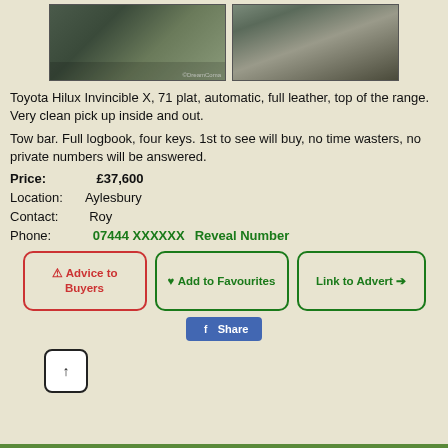[Figure (photo): Two photos of a Toyota Hilux: exterior shot of dark grey truck parked on grass, and interior shot showing passenger footwell with black floor mats]
Toyota Hilux Invincible X, 71 plat, automatic, full leather, top of the range. Very clean pick up inside and out.
Tow bar. Full logbook, four keys. 1st to see will buy, no time wasters, no private numbers will be answered.
Price:    £37,600
Location:  Aylesbury
Contact:  Roy
Phone:    07444 XXXXXX    Reveal Number